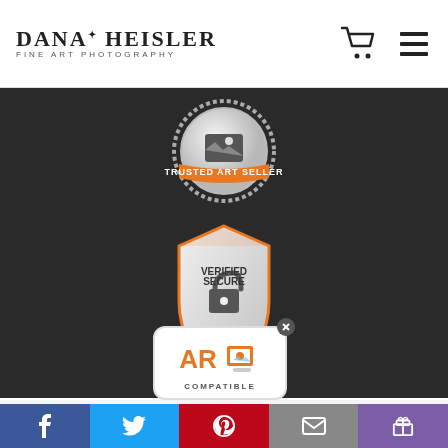Dana Heisler Fine Art Photography
[Figure (logo): Trusted Art Seller badge with orange ribbon and dotted circular border]
[Figure (logo): Verified Secure Website SSL Encrypted shield badge with orange accents]
Become a member ... to receive new ...
[Figure (logo): AR Compatible badge overlay with close button]
Social share buttons: Facebook, Twitter, Pinterest, email, gift